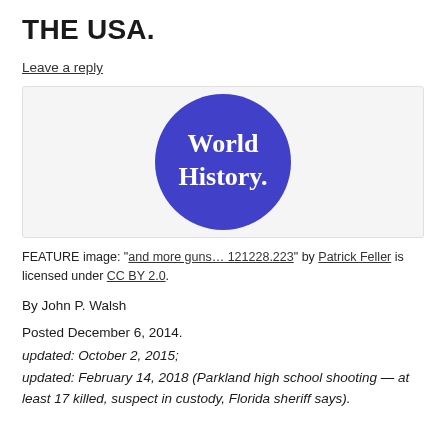THE USA.
Leave a reply
[Figure (logo): Blue circle with white serif text reading 'World History.' on a light gray/white rectangular background]
FEATURE image: “and more guns… 121228.223” by Patrick Feller is licensed under CC BY 2.0.
By John P. Walsh
Posted December 6, 2014.
updated: October 2, 2015;
updated: February 14, 2018 (Parkland high school shooting — at least 17 killed, suspect in custody, Florida sheriff says).